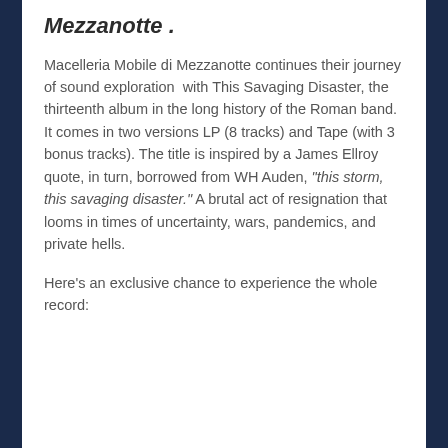Mezzanotte .
Macelleria Mobile di Mezzanotte continues their journey of sound exploration with This Savaging Disaster, the thirteenth album in the long history of the Roman band. It comes in two versions LP (8 tracks) and Tape (with 3 bonus tracks). The title is inspired by a James Ellroy quote, in turn, borrowed from WH Auden, “this storm, this savaging disaster.” A brutal act of resignation that looms in times of uncertainty, wars, pandemics, and private hells.
Here’s an exclusive chance to experience the whole record: